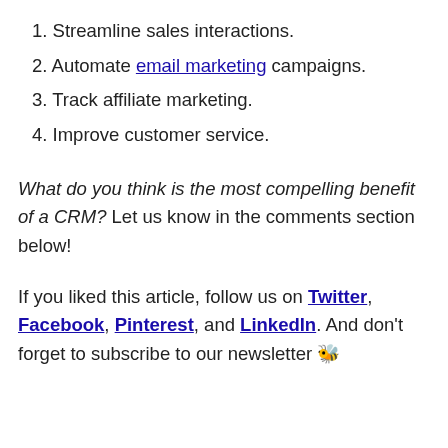1. Streamline sales interactions.
2. Automate email marketing campaigns.
3. Track affiliate marketing.
4. Improve customer service.
What do you think is the most compelling benefit of a CRM? Let us know in the comments section below!
If you liked this article, follow us on Twitter, Facebook, Pinterest, and LinkedIn. And don't forget to subscribe to our newsletter 🐝